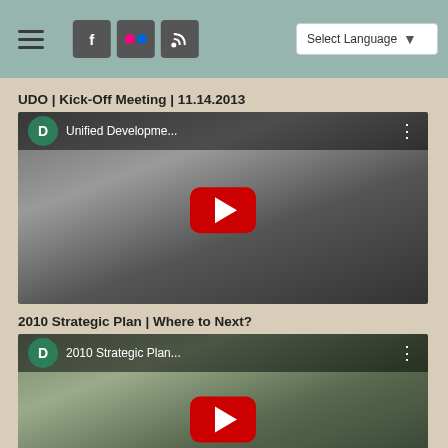Navigation header with hamburger menu, social icons (Facebook, Flickr, RSS), and Select Language dropdown
UDO | Kick-Off Meeting | 11.14.2013
[Figure (screenshot): YouTube video thumbnail for 'Unified Developme...' with channel avatar D, play button overlay, and a blurred person in background]
2010 Strategic Plan | Where to Next?
[Figure (screenshot): YouTube video thumbnail for '2010 Strategic Plan...' with channel avatar D, play button overlay, and a person in outdoor background]